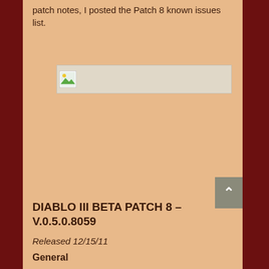patch notes, I posted the Patch 8 known issues list.
[Figure (photo): Broken/placeholder image thumbnail]
DIABLO III BETA PATCH 8 – V.0.5.0.8059
Released 12/15/11
General